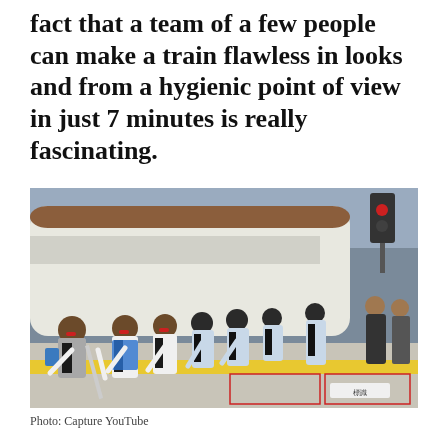fact that a team of a few people can make a train flawless in looks and from a hygienic point of view in just 7 minutes is really fascinating.
[Figure (photo): A row of uniformed cleaning staff members bowing on a train platform beside a bullet train (Shinkansen). The workers wear brown berets or black caps and are lined up along the platform, bowing in unison. A yellow safety line and red-bordered markings are visible on the platform floor. A traffic light and station infrastructure are visible in the background.]
Photo: Capture YouTube